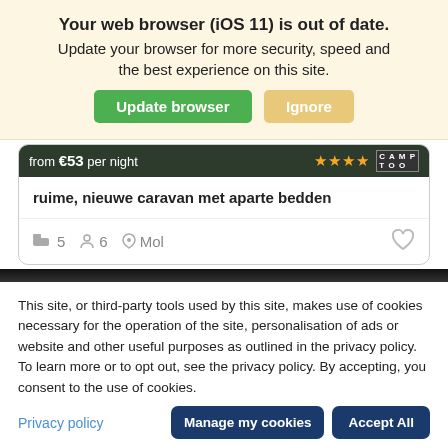Your web browser (iOS 11) is out of date.
Update your browser for more security, speed and the best experience on this site.
ruime, nieuwe caravan met aparte bedden
5  6  Mol
This site, or third-party tools used by this site, makes use of cookies necessary for the operation of the site, personalisation of ads or website and other useful purposes as outlined in the privacy policy. To learn more or to opt out, see the privacy policy. By accepting, you consent to the use of cookies.
Privacy policy
Manage my cookies
Accept All